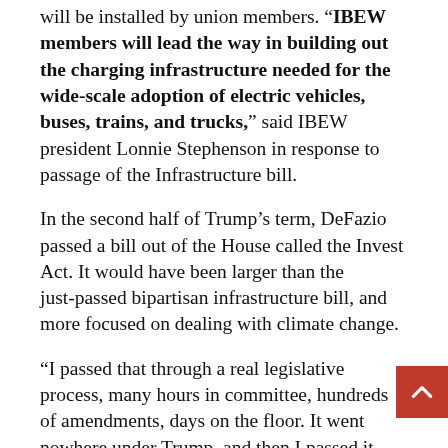will be installed by union members. "IBEW members will lead the way in building out the charging infrastructure needed for the wide-scale adoption of electric vehicles, buses, trains, and trucks," said IBEW president Lonnie Stephenson in response to passage of the Infrastructure bill.
In the second half of Trump's term, DeFazio passed a bill out of the House called the Invest Act. It would have been larger than the just-passed bipartisan infrastructure bill, and more focused on dealing with climate change.
“I passed that through a real legislative process, many hours in committee, hundreds of amendments, days on the floor. It went nowhere under Trump, and then I passed it again early this year. Unfortunately, the Senate in its dysfunction could not take up the bill because of the filibuster rule.”